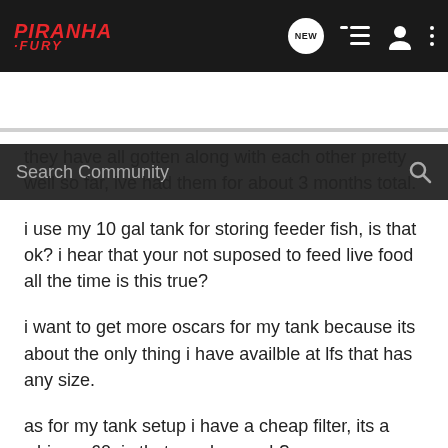[Figure (logo): Piranha Fury forum logo in red italic bold text on dark navbar]
Search Community
they have all gotten along with each other pretty well so far, ive had them for about 3 months total.
i use my 10 gal tank for storing feeder fish, is that ok? i hear that your not suposed to feed live food all the time is this true?
i want to get more oscars for my tank because its about the only thing i have availble at lfs that has any size.
as for my tank setup i have a cheap filter, its a whisper 60. is that good enough?
do you think a jack dempsey would survive in my tank?